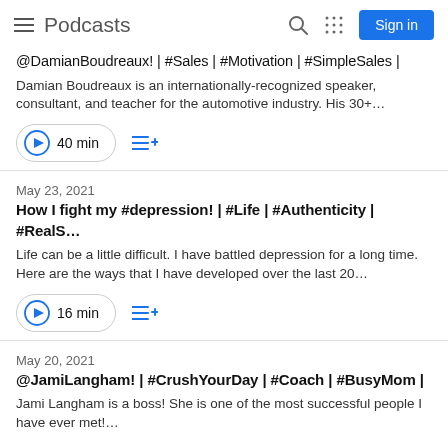Podcasts
@DamianBoudreaux! | #Sales | #Motivation | #SimpleSales |
Damian Boudreaux is an internationally-recognized speaker, consultant, and teacher for the automotive industry. His 30+…
40 min
May 23, 2021
How I fight my #depression! | #Life | #Authenticity | #RealS…
Life can be a little difficult. I have battled depression for a long time. Here are the ways that I have developed over the last 20…
16 min
May 20, 2021
@JamiLangham! | #CrushYourDay | #Coach | #BusyMom |
Jami Langham is a boss! She is one of the most successful people I have ever met!…